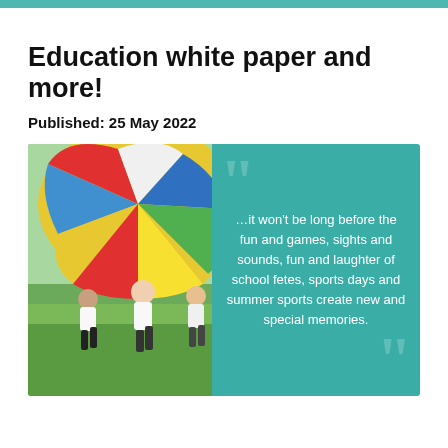Education white paper and more!
Published: 25 May 2022
[Figure (photo): Children playing with a colorful parachute on grass, with a teal panel on the right showing a quote: '…it won't be long before the fun and games, sights and sounds, fun and laughter of school fetes, sports days and summer sports create new and special memories.']